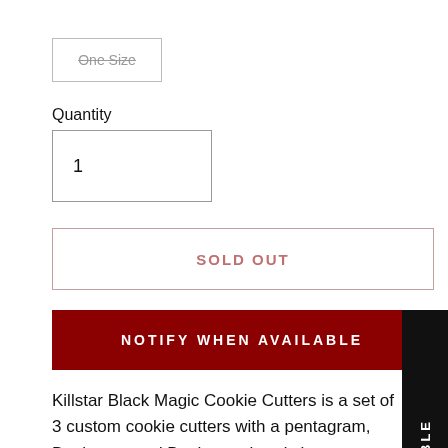One Size
Quantity
1
SOLD OUT
NOTIFY WHEN AVAILABLE
NOTIFY WHEN AVAILABLE
Killstar Black Magic Cookie Cutters is a set of 3 custom cookie cutters with a pentagram, Baphomet and Baphomet head shape to choose from. Made from hard plastic, these cookie cutters are the perfect gift